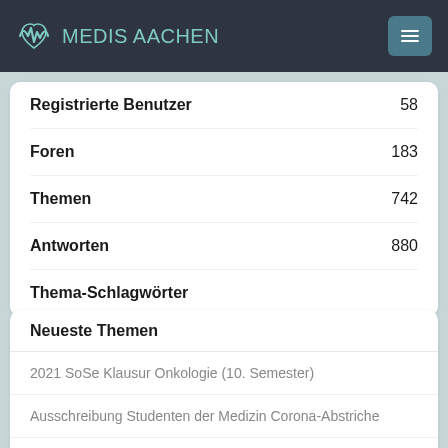MEDIS AAchen
| Label | Value |
| --- | --- |
| Registrierte Benutzer | 58 |
| Foren | 183 |
| Themen | 742 |
| Antworten | 880 |
| Thema-Schlagwörter |  |
Neueste Themen
2021 SoSe Klausur Onkologie (10. Semester)
Ausschreibung Studenten der Medizin Corona-Abstriche
Lernmaterial